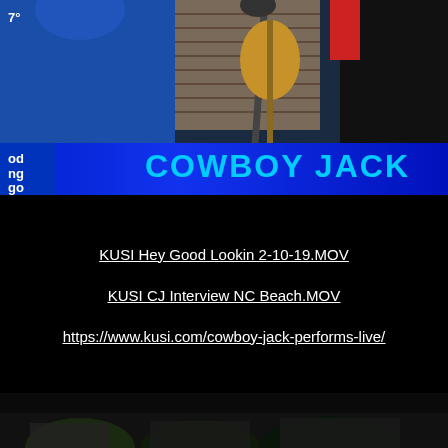[Figure (screenshot): TV screenshot showing people standing near a guitar/microphone stand against a brick wall background, with a blue lower-third banner displaying 'COWBOY JACK' in cyan text, and a partial 'od ng go' text visible on the left side of the banner. Temperature '7°' visible in the top left.]
KUSI Hey Good Lookin 2-10-19.MOV
KUSI CJ Interview NC Beach.MOV
https://www.kusi.com/cowboy-jack-performs-live/
[Figure (photo): Partial bottom image showing dark scene with partial figures visible at the bottom of the page.]